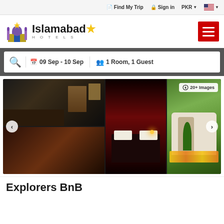Find My Trip  Sign in  PKR  [US Flag]
[Figure (logo): Islamabad Hotels logo with mosque silhouette icon and text 'Islamabad HOTELS']
09 Sep - 10 Sep   1 Room, 1 Guest
[Figure (photo): Hotel photo gallery showing three hotel images: a dark hotel room interior, a bedroom with red curtains and lit candles, and a garden/exterior view. Below are two more partial images.]
Explorers BnB